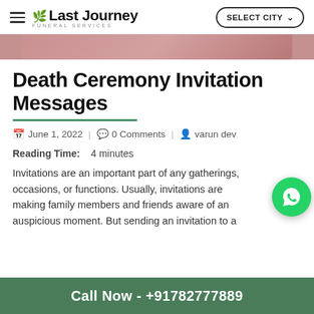Last Journey Funeral Services | SELECT CITY
[Figure (photo): Partial banner/hero image strip at top of article]
Death Ceremony Invitation Messages
June 1, 2022 | 0 Comments | varun dev
Reading Time: 4 minutes
Invitations are an important part of any gatherings, occasions, or functions. Usually, invitations are making family members and friends aware of an auspicious moment. But sending an invitation to a
Call Now - +91782777889